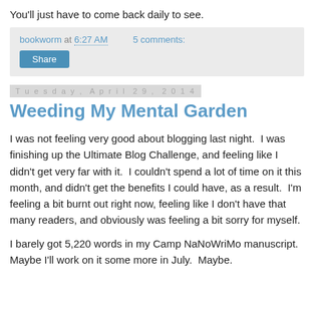You'll just have to come back daily to see.
bookworm at 6:27 AM   5 comments:
Share
Tuesday, April 29, 2014
Weeding My Mental Garden
I was not feeling very good about blogging last night.  I was finishing up the Ultimate Blog Challenge, and feeling like I didn't get very far with it.  I couldn't spend a lot of time on it this month, and didn't get the benefits I could have, as a result.  I'm feeling a bit burnt out right now, feeling like I don't have that many readers, and obviously was feeling a bit sorry for myself.
I barely got 5,220 words in my Camp NaNoWriMo manuscript.  Maybe I'll work on it some more in July.  Maybe.